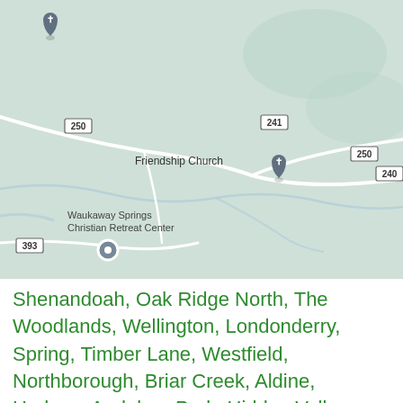[Figure (map): Google Maps screenshot showing a rural area with Friendship Church marked by a gray pin, Waukaway Springs Christian Retreat Center labeled, route badges 250, 241, 240, 393 visible, and white roads on green terrain background.]
Shenandoah, Oak Ridge North, The Woodlands, Wellington, Londonderry, Spring, Timber Lane, Westfield, Northborough, Briar Creek, Aldine, Hudson, Audubon Park, Hidden Valley, Garden City Park, Lincoln City, Jersey Village, Highland Heights, Melrose Park, Forest Acres, Victor, Oak Forest, Springdale, Ridgecrest, Parkway